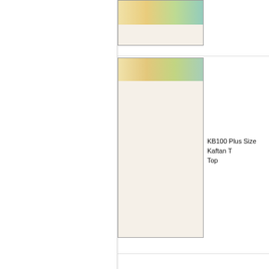[Figure (photo): Partially visible product image at top of page, colorful fabric top with multi-color strip visible]
KB100 Plus Size Kaftan T Top
[Figure (photo): KB100 Plus Size Kaftan Top product image - mostly white/cream background with faint colorful strip at top]
KB102 Plus Size Kaftan T Top
[Figure (photo): KB102 Plus Size Kaftan Top product image - mostly cream background with faint fabric detail at top]
KB103 Plus Size Kaftan T Top
[Figure (photo): KB103 Plus Size Kaftan Top - dark floral print garment on cream background]
[Figure (photo): Partially visible product image at bottom of page]